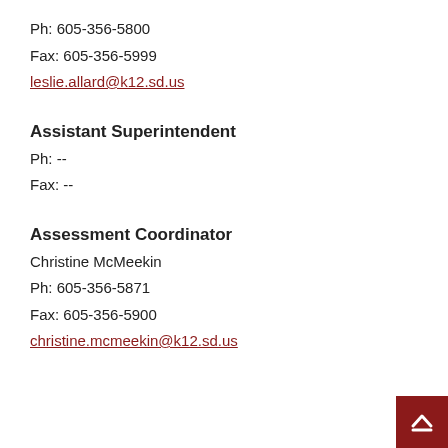Ph: 605-356-5800
Fax: 605-356-5999
leslie.allard@k12.sd.us
Assistant Superintendent
Ph: --
Fax: --
Assessment Coordinator
Christine McMeekin
Ph: 605-356-5871
Fax: 605-356-5900
christine.mcmeekin@k12.sd.us